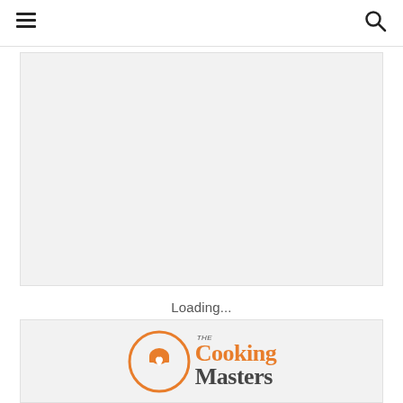Navigation header with hamburger menu and search icon
[Figure (other): Large light gray advertisement placeholder block]
Loading...
[Figure (logo): The CookingMasters logo with orange circle icon containing a chef hat and heart, orange 'Cooking' and dark 'Masters' text]